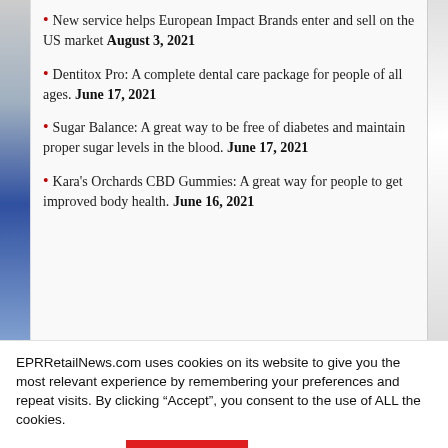New service helps European Impact Brands enter and sell on the US market August 3, 2021
Dentitox Pro: A complete dental care package for people of all ages. June 17, 2021
Sugar Balance: A great way to be free of diabetes and maintain proper sugar levels in the blood. June 17, 2021
Kara's Orchards CBD Gummies: A great way for people to get improved body health. June 16, 2021
EPRRetailNews.com uses cookies on its website to give you the most relevant experience by remembering your preferences and repeat visits. By clicking “Accept”, you consent to the use of ALL the cookies.
Cookie settings
ACCEPT